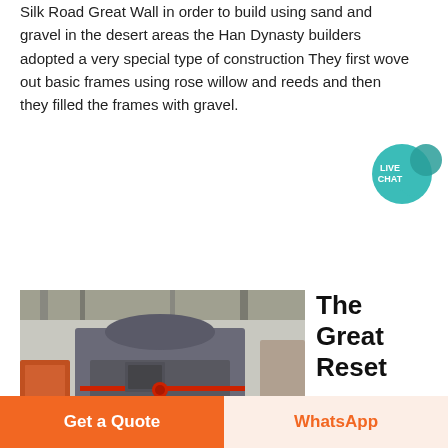Silk Road Great Wall in order to build using sand and gravel in the desert areas the Han Dynasty builders adopted a very special type of construction They first wove out basic frames using rose willow and reeds and then they filled the frames with gravel.
[Figure (other): Live Chat bubble icon in teal color with text LIVE CHAT]
Get Price
[Figure (photo): Industrial machine (vertical shaft impact crusher) in a factory warehouse setting, large grey metallic equipment on a concrete floor.]
The Great Reset
2021 6 21 There is an urgent
Get a Quote
WhatsApp